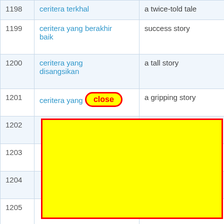| # | Malay | English |
| --- | --- | --- |
| 1198 | ceritera terkhal | a twice-told tale |
| 1199 | ceritera yang berakhir baik | success story |
| 1200 | ceritera yang disangsikan | a tall story |
| 1201 | ceritera yang [close] | a gripping story |
| 1202 |  | e |
| 1203 |  | ing = narra |
| 1204 |  | detective |
| 1205 |  | ccuratelly |
| 1206 |  |  |
| 1207 |  |  |
| 1208 | cermin Fresnel | Fresnel mirrors |